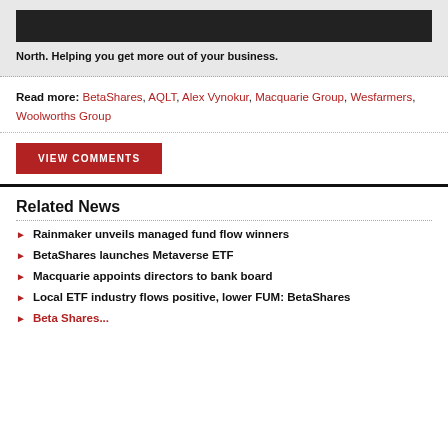[Figure (screenshot): Video thumbnail with dark background and progress bar]
North. Helping you get more out of your business.
Read more: BetaShares, AQLT, Alex Vynokur, Macquarie Group, Wesfarmers, Woolworths Group
VIEW COMMENTS
Related News
Rainmaker unveils managed fund flow winners
BetaShares launches Metaverse ETF
Macquarie appoints directors to bank board
Local ETF industry flows positive, lower FUM: BetaShares
BetaShares...